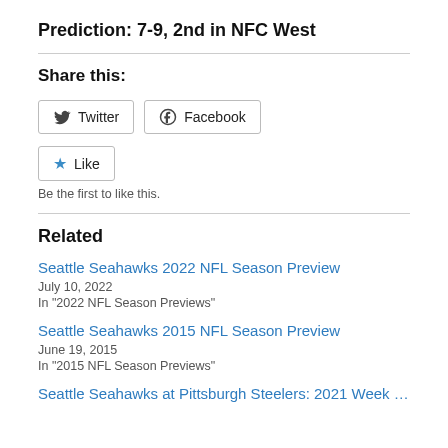Prediction: 7-9, 2nd in NFC West
Share this:
Twitter  Facebook
★ Like
Be the first to like this.
Related
Seattle Seahawks 2022 NFL Season Preview
July 10, 2022
In "2022 NFL Season Previews"
Seattle Seahawks 2015 NFL Season Preview
June 19, 2015
In "2015 NFL Season Previews"
Seattle Seahawks at Pittsburgh Steelers: 2021 Week 5 NFL Pick